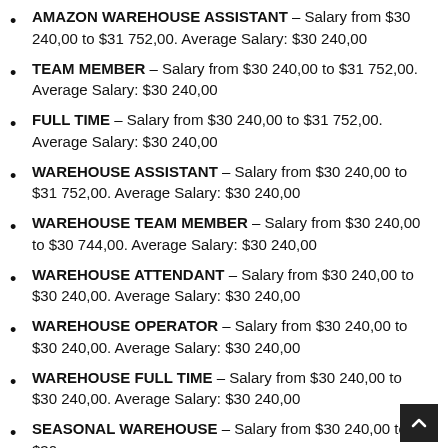AMAZON WAREHOUSE ASSISTANT – Salary from $30 240,00 to $31 752,00. Average Salary: $30 240,00
TEAM MEMBER – Salary from $30 240,00 to $31 752,00. Average Salary: $30 240,00
FULL TIME – Salary from $30 240,00 to $31 752,00. Average Salary: $30 240,00
WAREHOUSE ASSISTANT – Salary from $30 240,00 to $31 752,00. Average Salary: $30 240,00
WAREHOUSE TEAM MEMBER – Salary from $30 240,00 to $30 744,00. Average Salary: $30 240,00
WAREHOUSE ATTENDANT – Salary from $30 240,00 to $30 240,00. Average Salary: $30 240,00
WAREHOUSE OPERATOR – Salary from $30 240,00 to $30 240,00. Average Salary: $30 240,00
WAREHOUSE FULL TIME – Salary from $30 240,00 to $30 240,00. Average Salary: $30 240,00
SEASONAL WAREHOUSE – Salary from $30 240,00 to $30